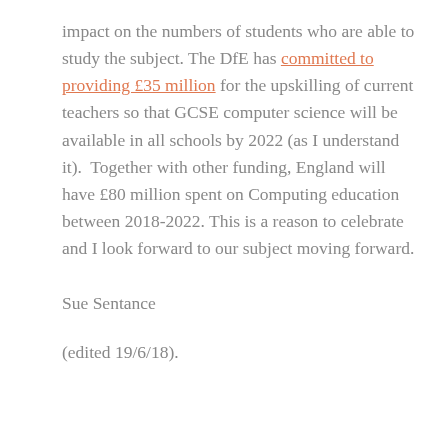impact on the numbers of students who are able to study the subject. The DfE has committed to providing £35 million for the upskilling of current teachers so that GCSE computer science will be available in all schools by 2022 (as I understand it).  Together with other funding, England will have £80 million spent on Computing education between 2018-2022. This is a reason to celebrate and I look forward to our subject moving forward.
Sue Sentance
(edited 19/6/18).